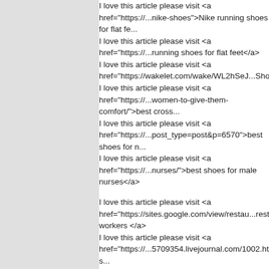I love this article please visit <a href="https://...nike-shoes">Nike running shoes for flat fe... I love this article please visit <a href="https://...running shoes for flat feet</a> I love this article please visit <a href="https://wakelet.com/wake/WL2hSeJ...Shoes</a> I love this article please visit <a href="https://...women-to-give-them-comfort/">best cross... I love this article please visit <a href="https://...post_type=post&p=6570">best shoes for n... I love this article please visit <a href="https://...nurses/">best shoes for male nurses</a> I love this article please visit <a href="https://sites.google.com/view/restau...restaurant workers </a> I love this article please visit <a href="https://...5709354.livejournal.com/1002.html">best s... I love this article please visit <a href="https://...4576.mystrikingly.com/blog/best-shoes-for...restaurant workers </a> I love this article please visit <a href="https://nikeshoesforflatfeet.seesaa.n...restaurant workers </a> I love this article please visit <a href="https://...shoes-for-restaurant-workers?key=aeu9j9...</a> I love this article please visit <a href="https://...shoes-for-restaurant-workers">best shoes... I love this article please visit <a href="https://...